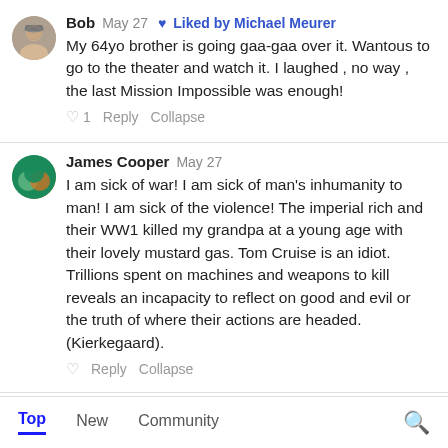Bob  May 27  ♥ Liked by Michael Meurer
My 64yo brother is going gaa-gaa over it. Wantous to go to the theater and watch it. I laughed , no way , the last Mission Impossible was enough!
♡ 1  Reply  Collapse
James Cooper  May 27
I am sick of war! I am sick of man's inhumanity to man! I am sick of the violence! The imperial rich and their WW1 killed my grandpa at a young age with their lovely mustard gas. Tom Cruise is an idiot. Trillions spent on machines and weapons to kill reveals an incapacity to reflect on good and evil or the truth of where their actions are headed. (Kierkegaard).
♡  Reply  Collapse
Top  New  Community